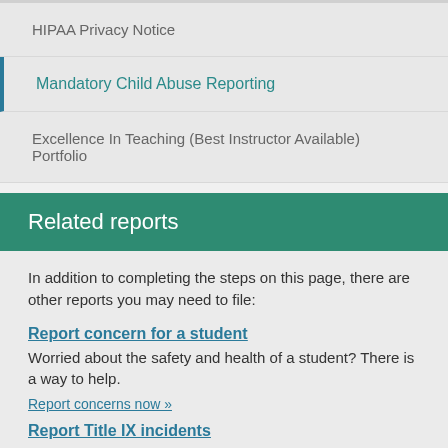HIPAA Privacy Notice
Mandatory Child Abuse Reporting
Excellence In Teaching (Best Instructor Available) Portfolio
Related reports
In addition to completing the steps on this page, there are other reports you may need to file:
Report concern for a student
Worried about the safety and health of a student? There is a way to help.
Report concerns now »
Report Title IX incidents